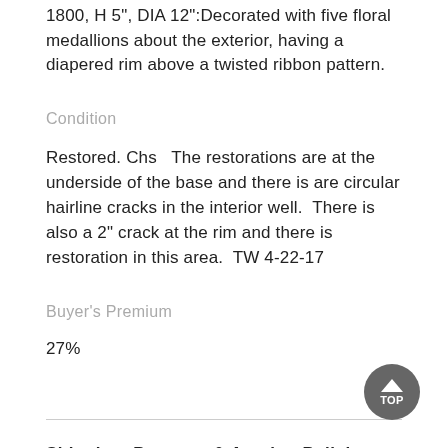1800, H 5", DIA 12":Decorated with five floral medallions about the exterior, having a diapered rim above a twisted ribbon pattern.
Condition
Restored. Chs   The restorations are at the underside of the base and there is are circular hairline cracks in the interior well.  There is also a 2" crack at the rim and there is restoration in this area.  TW 4-22-17
Buyer's Premium
27%
Shipping, Payment & Auction Policies
Ships from Detroit, MI, United States